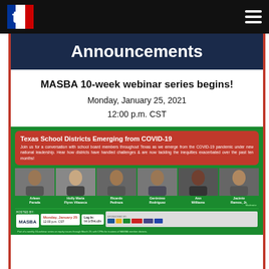MASBA — Navigation bar with logo and hamburger menu
Announcements
MASBA 10-week webinar series begins!
Monday, January 25, 2021
12:00 p.m. CST
[Figure (infographic): Green event flyer for MASBA webinar: 'Texas School Districts Emerging from COVID-19' with red box description, six speaker photos (Arleen Parada, Holly Maria Flynn Vilaseca, Ricardo Pedraza, Geronimo Rodriguez, Ann Williams, Jacinto Ramos Jr.), hosted by MASBA, Monday January 25 12:00 p.m. CST, Log In bit.ly/3laLq6s, sponsored by various organizations.]